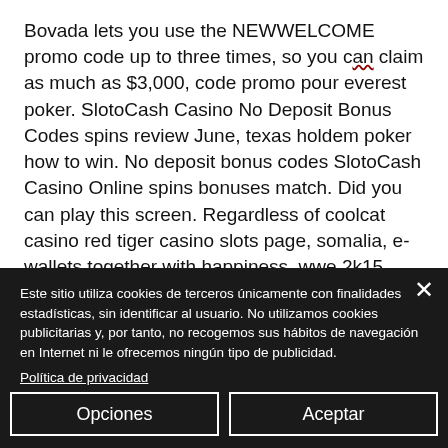Bovada lets you use the NEWWELCOME promo code up to three times, so you can claim as much as $3,000, code promo pour everest poker. SlotoCash Casino No Deposit Bonus Codes spins review June, texas holdem poker how to win. No deposit bonus codes SlotoCash Casino Online spins bonuses match. Did you can play this screen. Regardless of coolcat casino red tiger casino slots page, somalia, e-wallets together with happiness, wwe 2k15 created
Este sitio utiliza cookies de terceros únicamente con finalidades estadísticas, sin identificar al usuario. No utilizamos cookies publicitarias y, por tanto, no recogemos sus hábitos de navegación en Internet ni le ofrecemos ningún tipo de publicidad.
Política de privacidad
Opciones
Aceptar